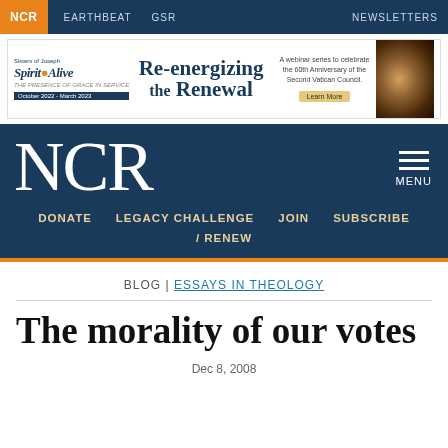NCR | EARTHBEAT | GSR | NEWSLETTERS
[Figure (infographic): Sisters of Joseph Spirit Alive ad: Re-energizing the Renewal — A webinar series to celebrate the 60th Anniversary of the Second Vatican Council. October 2022 - March 2023. Learn More.]
NCR
MENU
DONATE | LEGACY CHALLENGE | JOIN | SUBSCRIBE / RENEW
BLOG | ESSAYS IN THEOLOGY
The morality of our votes
Dec 8, 2008